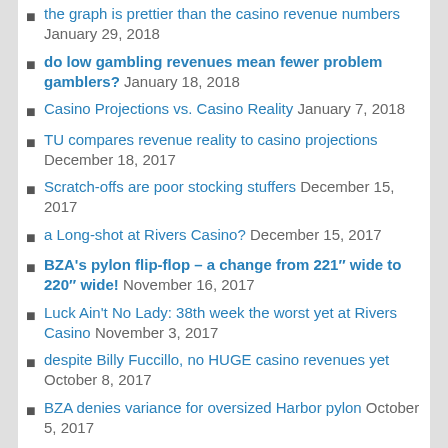the graph is prettier than the casino revenue numbers January 29, 2018
do low gambling revenues mean fewer problem gamblers? January 18, 2018
Casino Projections vs. Casino Reality January 7, 2018
TU compares revenue reality to casino projections December 18, 2017
Scratch-offs are poor stocking stuffers December 15, 2017
a Long-shot at Rivers Casino? December 15, 2017
BZA's pylon flip-flop – a change from 221″ wide to 220″ wide! November 16, 2017
Luck Ain't No Lady: 38th week the worst yet at Rivers Casino November 3, 2017
despite Billy Fuccillo, no HUGE casino revenues yet October 8, 2017
BZA denies variance for oversized Harbor pylon October 5, 2017
great news about the Old Pump House September 30, 2017
guardrails to boulders: a bad process leaves many concerns September 21, 2017